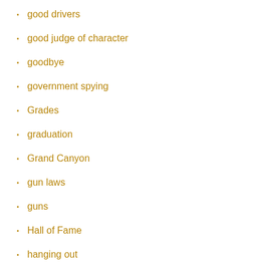good drivers
good judge of character
goodbye
government spying
Grades
graduation
Grand Canyon
gun laws
guns
Hall of Fame
hanging out
helicopter parents
High School
high school athletics
high school friends
higher power
holiday food
Homework
honesty
hooking up
hormones
hot water